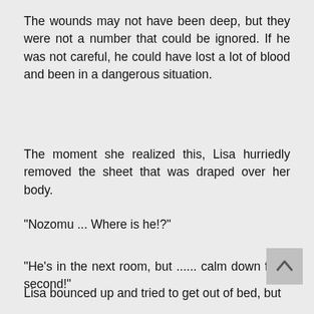The wounds may not have been deep, but they were not a number that could be ignored. If he was not careful, he could have lost a lot of blood and been in a dangerous situation.
The moment she realized this, Lisa hurriedly removed the sheet that was draped over her body.
"Nozomu ... Where is he!?"
"He's in the next room, but ...... calm down for a second!"
Lisa bounced up and tried to get out of bed, but